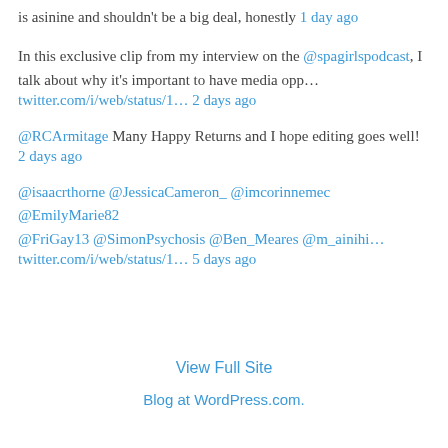is asinine and shouldn't be a big deal, honestly 1 day ago
In this exclusive clip from my interview on the @spagirlspodcast, I talk about why it's important to have media opp… twitter.com/i/web/status/1… 2 days ago
@RCArmitage Many Happy Returns and I hope editing goes well! 2 days ago
@isaacrthorne @JessicaCameron_ @imcorinnemec @EmilyMarie82 @FriGay13 @SimonPsychosis @Ben_Meares @m_ainihi… twitter.com/i/web/status/1… 5 days ago
View Full Site
Blog at WordPress.com.